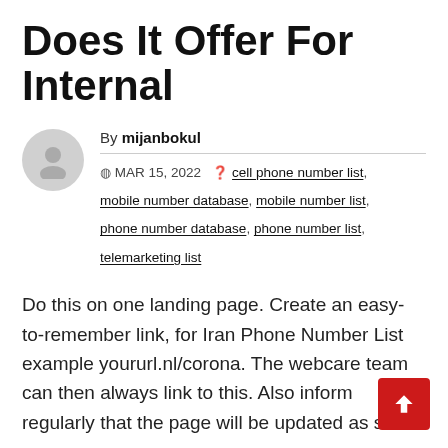Does It Offer For Internal
By mijanbokul
MAR 15, 2022  cell phone number list, mobile number database, mobile number list, phone number database, phone number list, telemarketing list
Do this on one landing page. Create an easy-to-remember link, for Iran Phone Number List example yoururl.nl/corona. The webcare team can then always link to this. Also inform regularly that the page will be updated as soon